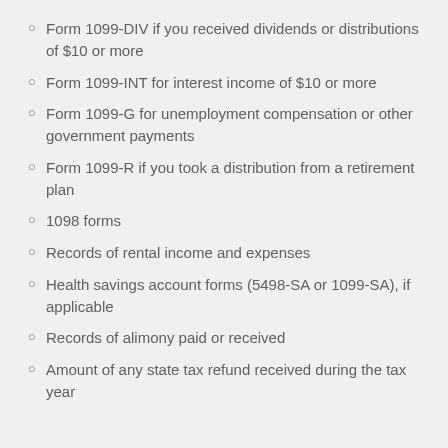Form 1099-DIV if you received dividends or distributions of $10 or more
Form 1099-INT for interest income of $10 or more
Form 1099-G for unemployment compensation or other government payments
Form 1099-R if you took a distribution from a retirement plan
1098 forms
Records of rental income and expenses
Health savings account forms (5498-SA or 1099-SA), if applicable
Records of alimony paid or received
Amount of any state tax refund received during the tax year